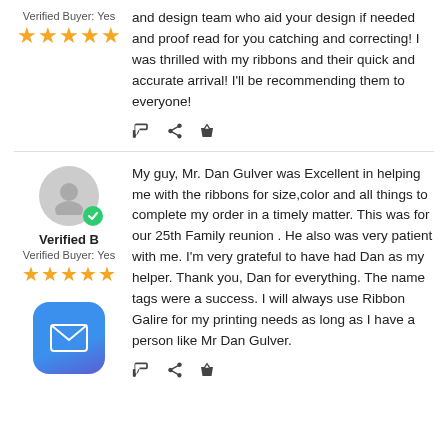Verified Buyer: Yes
★★★★★
and design team who aid your design if needed and proof read for you catching and correcting! I was thrilled with my ribbons and their quick and accurate arrival! I'll be recommending them to everyone!
Verified B
Verified Buyer: Yes
★★★★★
My guy, Mr. Dan Gulver was Excellent in helping me with the ribbons for size,color and all things to complete my order in a timely matter. This was for our 25th Family reunion . He also was very patient with me.  I'm very grateful to have had Dan as my helper.  Thank you, Dan for everything.  The name tags were a success. I will always use Ribbon Galire for my printing needs as long as I have a person like Mr Dan Gulver.